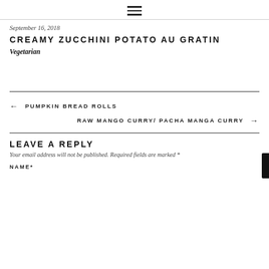≡ (hamburger menu icon)
September 16, 2018
CREAMY ZUCCHINI POTATO AU GRATIN
Vegetarian
← PUMPKIN BREAD ROLLS
RAW MANGO CURRY/ PACHA MANGA CURRY →
LEAVE A REPLY
Your email address will not be published. Required fields are marked *
NAME*